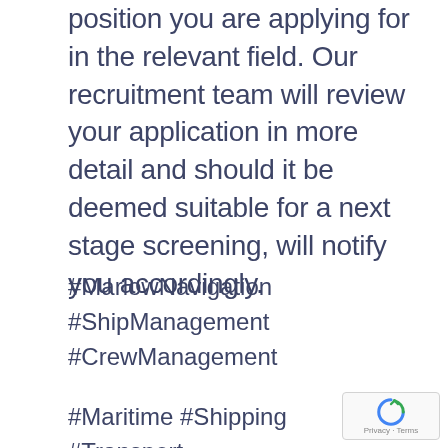position you are applying for in the relevant field. Our recruitment team will review your application in more detail and should it be deemed suitable for a next stage screening, will notify you accordingly.
#MarlowNavigation
#ShipManagement
#CrewManagement
#Maritime #Shipping #Transport
#ShipsAndShipping